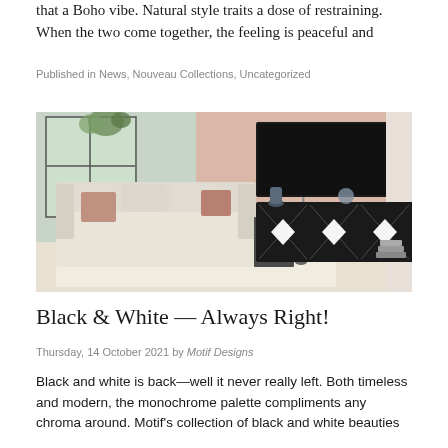that a Boho vibe. Natural style traits a dose of restraining. When the two come together, the feeling is peaceful and
Published in News, Nouveau Collections, Uncategorized
[Figure (photo): Living room scene with a cream sofa, pink accent pillows, a black metal side table, a floor lamp, and a bold black-and-white geometric patterned credenza/sideboard with diamond/X motifs on the doors, with a TV mounted above it on a blush-pink wall.]
Black & White — Always Right!
Thursday, 14 October 2021 by Motif Designs
Black and white is back—well it never really left. Both timeless and modern, the monochrome palette compliments any chroma around. Motif's collection of black and white beauties